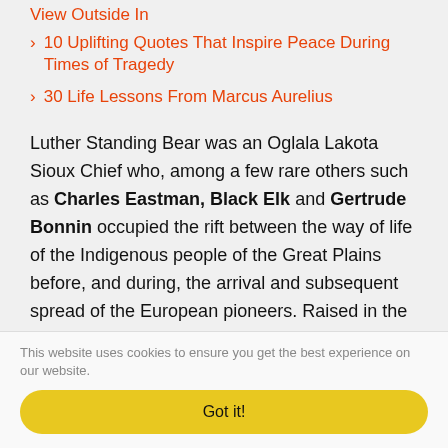View Outside In
10 Uplifting Quotes That Inspire Peace During Times of Tragedy
30 Life Lessons From Marcus Aurelius
Luther Standing Bear was an Oglala Lakota Sioux Chief who, among a few rare others such as Charles Eastman, Black Elk and Gertrude Bonnin occupied the rift between the way of life of the Indigenous people of the Great Plains before, and during, the arrival and subsequent spread of the European pioneers. Raised in the traditions of his people until the age of eleven, he was then educated at the Carlisle Indian Industrial Boarding School of Pennsylvania...
This website uses cookies to ensure you get the best experience on our website.
Got it!